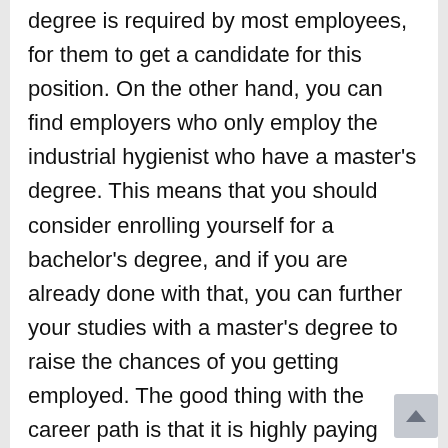degree is required by most employees, for them to get a candidate for this position. On the other hand, you can find employers who only employ the industrial hygienist who have a master's degree. This means that you should consider enrolling yourself for a bachelor's degree, and if you are already done with that, you can further your studies with a master's degree to raise the chances of you getting employed. The good thing with the career path is that it is highly paying and its demand is rising day by day. Hence, with your bachelors or masters degree, you will get a position, and you will be earning a good salary.
Industrial hygiene degrees are different, and you have a chance of specializing in one kind